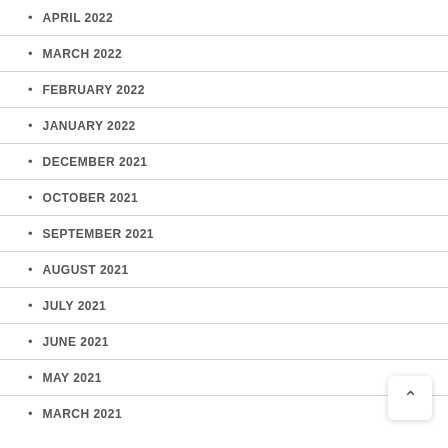APRIL 2022
MARCH 2022
FEBRUARY 2022
JANUARY 2022
DECEMBER 2021
OCTOBER 2021
SEPTEMBER 2021
AUGUST 2021
JULY 2021
JUNE 2021
MAY 2021
MARCH 2021